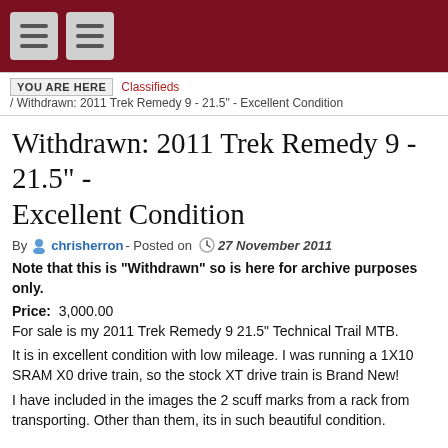Navigation header bar with menu icons
YOU ARE HERE  Classifieds / Withdrawn: 2011 Trek Remedy 9 - 21.5" - Excellent Condition
Withdrawn: 2011 Trek Remedy 9 - 21.5" - Excellent Condition
By chrisherron - Posted on 27 November 2011
Note that this is "Withdrawn" so is here for archive purposes only.
Price:  3,000.00
For sale is my 2011 Trek Remedy 9 21.5" Technical Trail MTB.
It is in excellent condition with low mileage. I was running a 1X10 SRAM X0 drive train, so the stock XT drive train is Brand New!
I have included in the images the 2 scuff marks from a rack from transporting. Other than them, its in such beautiful condition.